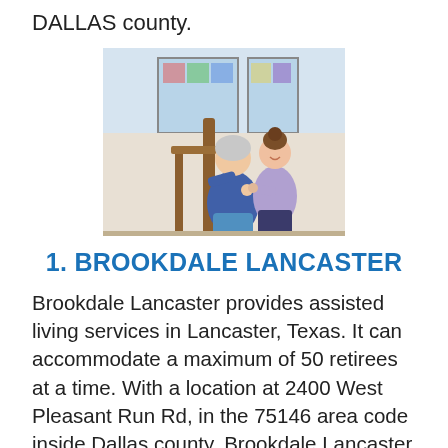DALLAS county.
[Figure (photo): An elderly woman being assisted by a younger female caregiver/nurse on a staircase near a window with stained glass.]
1. BROOKDALE LANCASTER
Brookdale Lancaster provides assisted living services in Lancaster, Texas. It can accommodate a maximum of 50 retirees at a time. With a location at 2400 West Pleasant Run Rd, in the 75146 area code inside Dallas county, Brookdale Lancaster assists those 55 and older adults who need assistance with daily living activities. Some of the services offered by Brookdale Lancaster include a hair